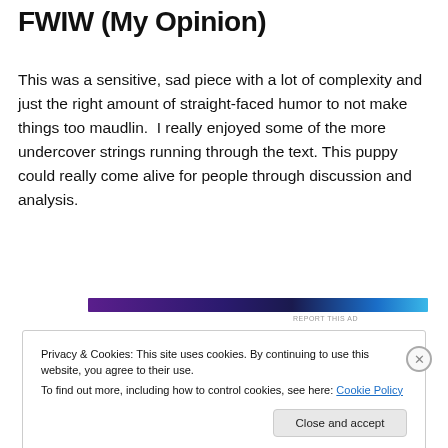FWIW (My Opinion)
This was a sensitive, sad piece with a lot of complexity and just the right amount of straight-faced humor to not make things too maudlin.  I really enjoyed some of the more undercover strings running through the text. This puppy could really come alive for people through discussion and analysis.
[Figure (other): A horizontal advertisement banner with a dark gradient from purple to blue to cyan.]
Privacy & Cookies: This site uses cookies. By continuing to use this website, you agree to their use.
To find out more, including how to control cookies, see here: Cookie Policy
Close and accept